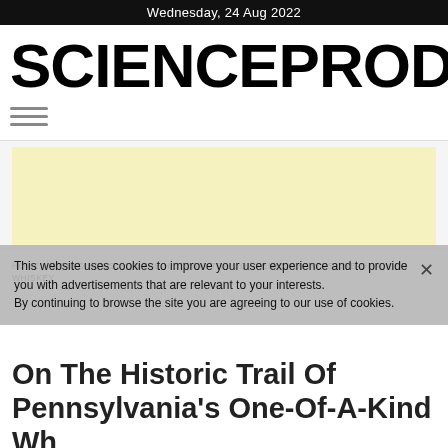Wednesday, 24 Aug 2022
SCIENCEPRODUCTIO
[Figure (other): Hamburger menu icon with three horizontal lines]
[Figure (other): Advertisement banner block (light yellow background)]
HOME » WORLD NEWS » ON THE HISTORIC TRAIL OF PENNSYLVANIA'S ONE-OF-A-KIND WHISKEY
This website uses cookies to improve your user experience and to provide you with advertisements that are relevant to your interests. By continuing to browse the site you are agreeing to our use of cookies.
On The Historic Trail Of Pennsylvania's One-Of-A-Kind Whiskey